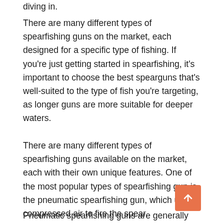diving in.
There are many different types of spearfishing guns on the market, each designed for a specific type of fishing. If you're just getting started in spearfishing, it's important to choose the best spearguns that's well-suited to the type of fish you're targeting, as longer guns are more suitable for deeper waters.
There are many different types of spearfishing guns available on the market, each with their own unique features. One of the most popular types of spearfishing gun is the pneumatic spearfishing gun, which uses compressed air to fire the spear.
Pneumatic spearfishing guns are generally more